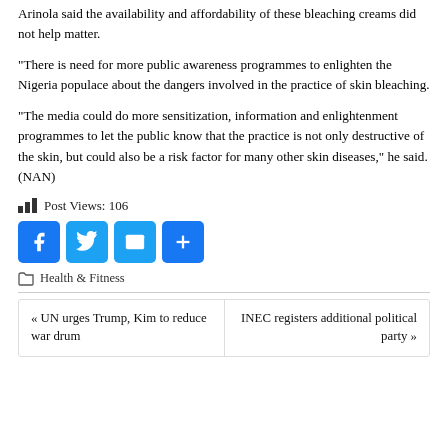Arinola said the availability and affordability of these bleaching creams did not help matter.
“There is need for more public awareness programmes to enlighten the Nigeria populace about the dangers involved in the practice of skin bleaching.
“The media could do more sensitization, information and enlightenment programmes to let the public know that the practice is not only destructive of the skin, but could also be a risk factor for many other skin diseases,” he said. (NAN)
Post Views: 106
[Figure (infographic): Social share buttons: Facebook, Twitter, Email, Add/Share]
Health & Fitness
« UN urges Trump, Kim to reduce war drum
INEC registers additional political party »